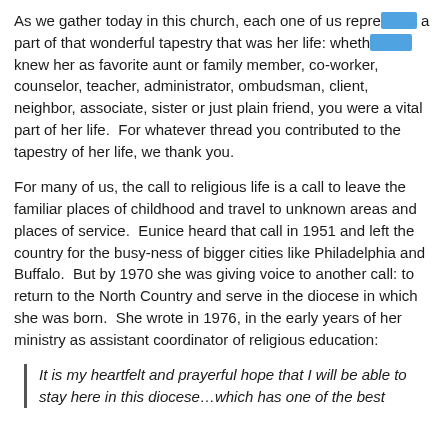As we gather today in this church, each one of us represents a part of that wonderful tapestry that was her life: whether you knew her as favorite aunt or family member, co-worker, counselor, teacher, administrator, ombudsman, client, neighbor, associate, sister or just plain friend, you were a vital part of her life.  For whatever thread you contributed to the tapestry of her life, we thank you.
For many of us, the call to religious life is a call to leave the familiar places of childhood and travel to unknown areas and places of service.  Eunice heard that call in 1951 and left the country for the busy-ness of bigger cities like Philadelphia and Buffalo.  But by 1970 she was giving voice to another call: to return to the North Country and serve in the diocese in which she was born.  She wrote in 1976, in the early years of her ministry as assistant coordinator of religious education:
It is my heartfelt and prayerful hope that I will be able to stay here in this diocese…which has one of the best